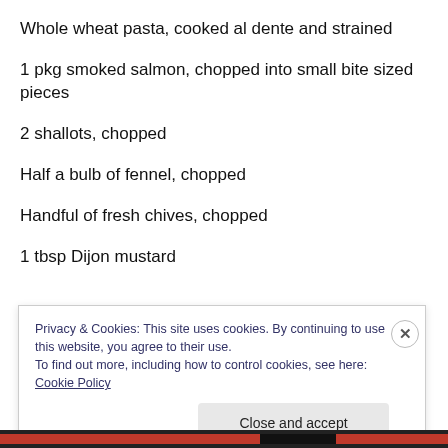Whole wheat pasta, cooked al dente and strained
1 pkg smoked salmon, chopped into small bite sized pieces
2 shallots, chopped
Half a bulb of fennel, chopped
Handful of fresh chives, chopped
1 tbsp Dijon mustard
Privacy & Cookies: This site uses cookies. By continuing to use this website, you agree to their use.
To find out more, including how to control cookies, see here: Cookie Policy